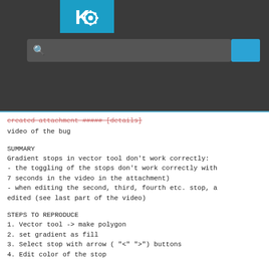[Figure (screenshot): KDE application header with logo, search bar, and blue button on dark background]
created attachment #####  [details]
video of the bug
SUMMARY
Gradient stops in vector tool don't work correctly:
- the toggling of the stops don't work correctly with
7 seconds in the video in the attachment)
- when editing the second, third, fourth etc. stop, a
edited (see last part of the video)
STEPS TO REPRODUCE
1. Vector tool -> make polygon
2. set gradient as fill
3. Select stop with arrow ( "<" ">") buttons
4. Edit color of the stop
OBSERVED RESULT